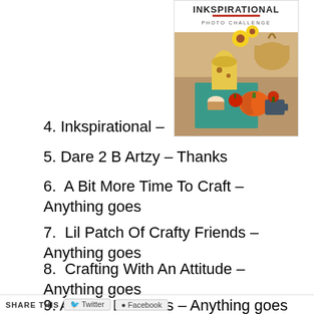[Figure (photo): Inkspirational Photo Challenge logo and promotional image showing autumn/fall themed table setting with pumpkins, flowers, and baked goods]
4. Inkspirational –
5. Dare 2 B Artzy – Thanks
6. A Bit More Time To Craft – Anything goes
7. Lil Patch Of Crafty Friends – Anything goes
8. Crafting With An Attitude – Anything goes
9. Altered Eclectics – Anything goes
SHARE THIS  Twitter  Facebook